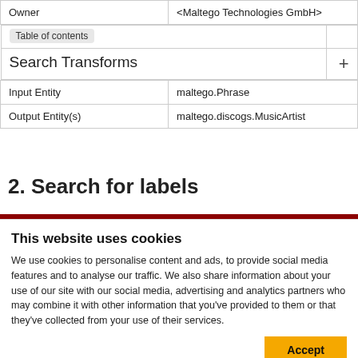| Owner | <Maltego Technologies GmbH> |
| Table of contents
Search Transforms | + |
| Input Entity | maltego.Phrase |
| Output Entity(s) | maltego.discogs.MusicArtist |
2. Search for labels
This website uses cookies
We use cookies to personalise content and ads, to provide social media features and to analyse our traffic. We also share information about your use of our site with our social media, advertising and analytics partners who may combine it with other information that you've provided to them or that they've collected from your use of their services.
Accept
Necessary  Preferences  Statistics  Marketing  Settings